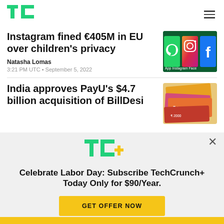TechCrunch logo and navigation
Instagram fined €405M in EU over children's privacy
Natasha Lomas
3:21 PM UTC • September 5, 2022
[Figure (photo): App icons showing WhatsApp, Instagram, and Facebook on a smartphone screen]
India approves PayU's $4.7 billion acquisition of BillDesk
[Figure (photo): Indian currency rupee banknotes spread out]
[Figure (logo): TechCrunch+ logo (TC+) in green with plus sign in yellow]
Celebrate Labor Day: Subscribe TechCrunch+ Today Only for $90/Year.
GET OFFER NOW